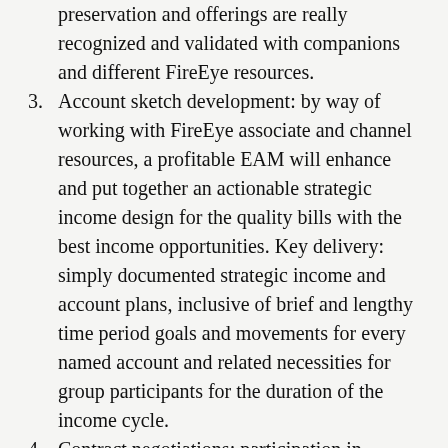preservation and offerings are really recognized and validated with companions and different FireEye resources.
3. Account sketch development: by way of working with FireEye associate and channel resources, a profitable EAM will enhance and put together an actionable strategic income design for the quality bills with the best income opportunities. Key delivery: simply documented strategic income and account plans, inclusive of brief and lengthy time period goals and movements for every named account and related necessities for group participants for the duration of the income cycle.
4. Contract negotiations: participation in contract negotiations for named accounts. Registry key: contracts financially sound and resource-backed that align with clear monetary dreams FireEye whilst supplying value-added products, maintenance, and offerings to meet client